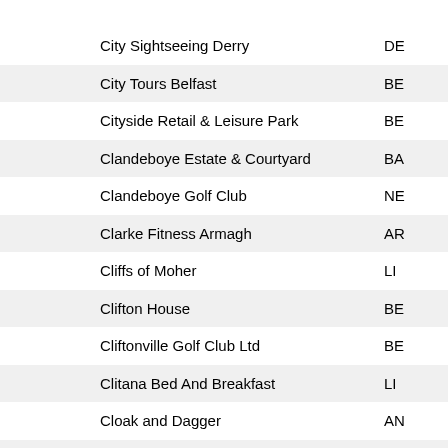| Name | Code |
| --- | --- |
| City Sightseeing Derry | DE |
| City Tours Belfast | BE |
| Cityside Retail & Leisure Park | BE |
| Clandeboye Estate & Courtyard | BA |
| Clandeboye Golf Club | NE |
| Clarke Fitness Armagh | AR |
| Cliffs of Moher | LI |
| Clifton House | BE |
| Cliftonville Golf Club Ltd | BE |
| Clitana Bed And Breakfast | LI |
| Cloak and Dagger | AN |
| Clogher Valley Agricultural Society Ltd | AU |
| Clonard Credit Union - Clonard Office | BE |
| Clonard Credit Union - Park Centre Office | BE |
| Clonard Credit Union - Springfield Road Office | BE |
| Clonard Credit Union - Twin Spires Office | BE |
| Clonmany Agricultural Show & Sheepdog Association Ltd | CL |
| Club Vitae | BE |